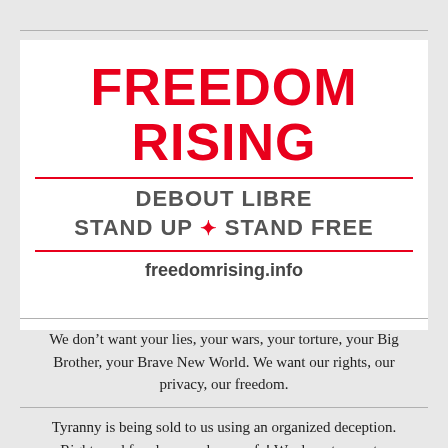FREEDOM RISING
DEBOUT LIBRE
STAND UP ♥ STAND FREE
freedomrising.info
We don’t want your lies, your wars, your torture, your Big Brother, your Brave New World. We want our rights, our privacy, our freedom.
Tyranny is being sold to us using an organized deception. Rights and freedoms make us safe! We do not accept a